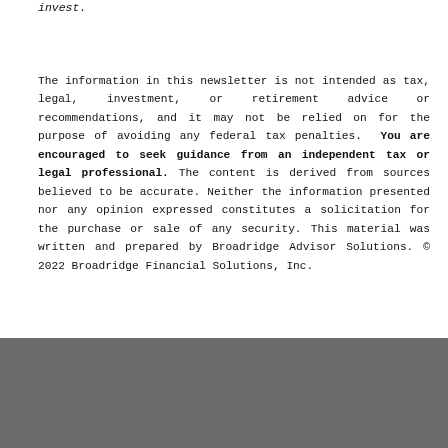invest.
The information in this newsletter is not intended as tax, legal, investment, or retirement advice or recommendations, and it may not be relied on for the purpose of avoiding any federal tax penalties. You are encouraged to seek guidance from an independent tax or legal professional. The content is derived from sources believed to be accurate. Neither the information presented nor any opinion expressed constitutes a solicitation for the purchase or sale of any security. This material was written and prepared by Broadridge Advisor Solutions. © 2022 Broadridge Financial Solutions, Inc.